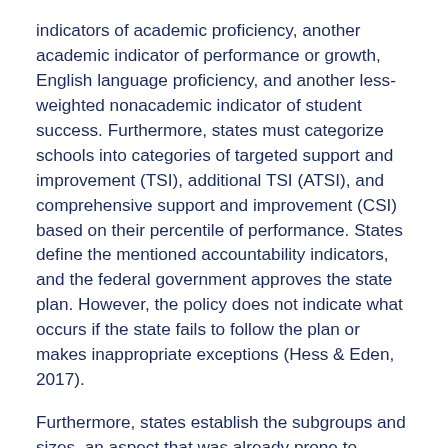indicators of academic proficiency, another academic indicator of performance or growth, English language proficiency, and another less-weighted nonacademic indicator of student success. Furthermore, states must categorize schools into categories of targeted support and improvement (TSI), additional TSI (ATSI), and comprehensive support and improvement (CSI) based on their percentile of performance. States define the mentioned accountability indicators, and the federal government approves the state plan. However, the policy does not indicate what occurs if the state fails to follow the plan or makes inappropriate exceptions (Hess & Eden, 2017).
Furthermore, states establish the subgroups and sizes, an aspect that was already prone to substantial manipulation under NCLB and now will potentially be even more so. Small school systems with small subgroups were not held accountable for results, placing the accountability burden